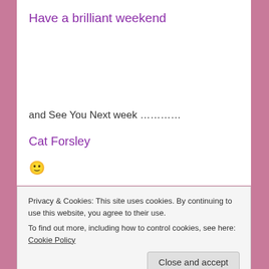Have a brilliant weekend
and See You Next week …………
Cat Forsley
🙂
Privacy & Cookies: This site uses cookies. By continuing to use this website, you agree to their use.
To find out more, including how to control cookies, see here: Cookie Policy
Close and accept